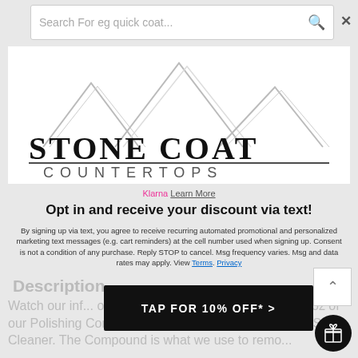[Figure (screenshot): Search bar with placeholder text 'Search For eg quick coat' and a search icon on the right, with a close X button in the top right corner]
[Figure (logo): Stone Coat Countertops logo with mountain peaks graphic above the text 'STONE COAT COUNTERTOPS']
Klarna Learn More
Opt in and receive your discount via text!
By signing up via text, you agree to receive recurring automated promotional and personalized marketing text messages (e.g. cart reminders) at the cell number used when signing up. Consent is not a condition of any purchase. Reply STOP to cancel. Msg frequency varies. Msg and data rates may apply. View Terms. Privacy
Description
Watch our inf... or click here. In this ki... you get to 64 oz of our Polishing Compound and 16 ounces of our Liquid Smo... Cleaner. The Compound is what we use to remo...
[Figure (screenshot): TAP FOR 10% OFF* > button in black with white text]
[Figure (screenshot): Scroll up arrow button (white box with caret up)]
[Figure (screenshot): Gift/loyalty icon circle button in black at bottom right]